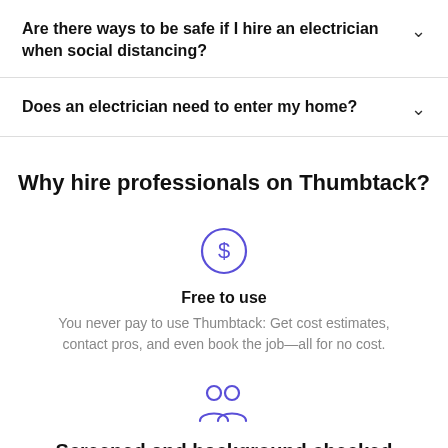Are there ways to be safe if I hire an electrician when social distancing?
Does an electrician need to enter my home?
Why hire professionals on Thumbtack?
[Figure (illustration): Dollar sign icon inside a circle, in blue/indigo color]
Free to use
You never pay to use Thumbtack: Get cost estimates, contact pros, and even book the job—all for no cost.
[Figure (illustration): Two people / users icon in blue/indigo color]
Screened and background checked